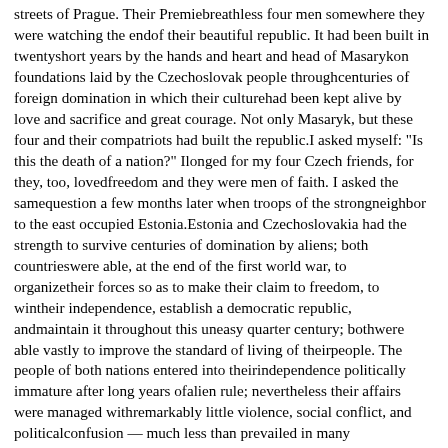streets of Prague. Their Premiebreathless four men somewhere they were watching the endof their beautiful republic. It had been built in twentyshort years by the hands and heart and head of Masarykon foundations laid by the Czechoslovak people throughcenturies of foreign domination in which their culturehad been kept alive by love and sacrifice and great courage. Not only Masaryk, but these four and their compatriots had built the republic.I asked myself: "Is this the death of a nation?" Ilonged for my four Czech friends, for they, too, lovedfreedom and they were men of faith. I asked the samequestion a few months later when troops of the strongneighbor to the east occupied Estonia.Estonia and Czechoslovakia had the strength to survive centuries of domination by aliens; both countrieswere able, at the end of the first world war, to organizetheir forces so as to make their claim to freedom, to wintheir independence, establish a democratic republic, andmaintain it throughout this uneasy quarter century; bothwere able vastly to improve the standard of living of theirpeople. The people of both nations entered into theirindependence politically immature after long years ofalien rule; nevertheless their affairs were managed withremarkably little violence, social conflict, and politicalconfusion — much less than prevailed in many neighboringcountries of Europe.Both countries, at the end of the period, yielded to thedemands of their powerful neighbors without resort toforce, hoping that by what they regarded as sacrificethey were helping to maintain the peace of Europe foryet a little while. Both were good stewards of freedom. It